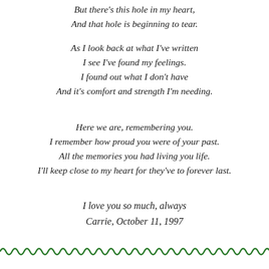But there's this hole in my heart,
And that hole is beginning to tear.
As I look back at what I've written
I see I've found my feelings.
I found out what I don't have
And it's comfort and strength I'm needing.
Here we are, remembering you.
I remember how proud you were of your past.
All the memories you had living you life.
I'll keep close to my heart for they've to forever last.
I love you so much, always
Carrie, October 11, 1997
[Figure (illustration): Green wavy tilde divider line at the bottom of the page]